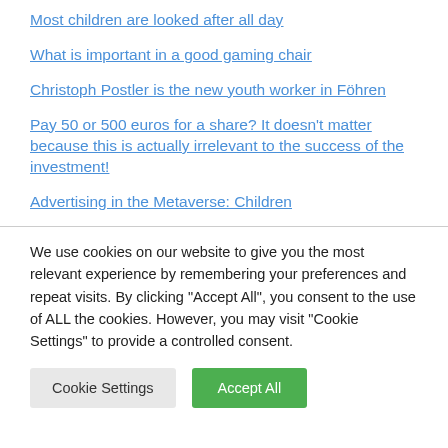Most children are looked after all day
What is important in a good gaming chair
Christoph Postler is the new youth worker in Föhren
Pay 50 or 500 euros for a share? It doesn't matter because this is actually irrelevant to the success of the investment!
Advertising in the Metaverse: Children
We use cookies on our website to give you the most relevant experience by remembering your preferences and repeat visits. By clicking "Accept All", you consent to the use of ALL the cookies. However, you may visit "Cookie Settings" to provide a controlled consent.